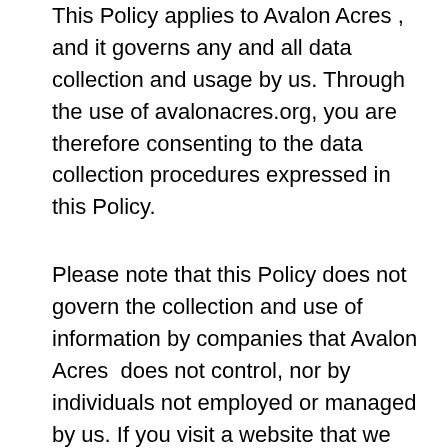This Policy applies to Avalon Acres , and it governs any and all data collection and usage by us. Through the use of avalonacres.org, you are therefore consenting to the data collection procedures expressed in this Policy.
Please note that this Policy does not govern the collection and use of information by companies that Avalon Acres  does not control, nor by individuals not employed or managed by us. If you visit a website that we mention or link to, be sure to review its privacy policy before providing the site with information. It is highly recommended and suggested that you review the privacy policies and statements of any website you choose to use or frequent to better